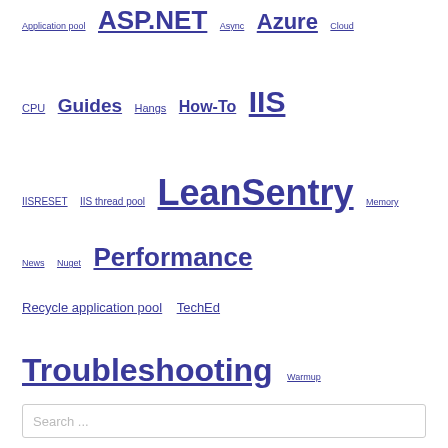Application pool  ASP.NET  Async  Azure  Cloud
CPU  Guides  Hangs  How-To  IIS
IISRESET  IIS thread pool  LeanSentry  Memory
News  Nuget  Performance
Recycle application pool  TechEd
Troubleshooting  Warmup
Search ...
Archives